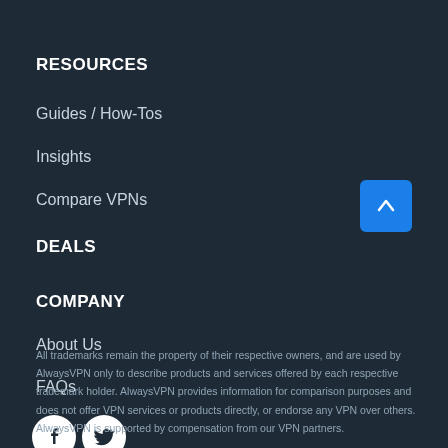RESOURCES
Guides / How-Tos
Insights
Compare VPNs
DEALS
COMPANY
About Us
FAQs
[Figure (illustration): Facebook and Twitter social media icons (circular white buttons with black logos)]
[Figure (illustration): Blue scroll-to-top button with white upward arrow]
All trademarks remain the property of their respective owners, and are used by AlwaysVPN only to describe products and services offered by each respective trademark holder. AlwaysVPN provides information for comparison purposes and does not offer VPN services or products directly, or endorse any VPN over others. AlwaysVPN is supported by compensation from our VPN partners.